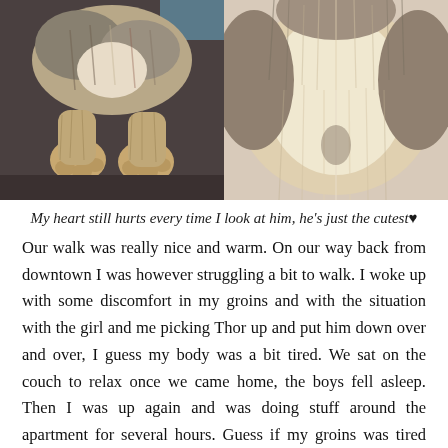[Figure (photo): Two side-by-side close-up photos of a fluffy dog. Left photo shows the dog's paws and lower body fur on a dark surface. Right photo shows the dog's fluffy chest and belly fur from above.]
My heart still hurts every time I look at him, he's just the cutest♥
Our walk was really nice and warm. On our way back from downtown I was however struggling a bit to walk. I woke up with some discomfort in my groins and with the situation with the girl and me picking Thor up and put him down over and over, I guess my body was a bit tired. We sat on the couch to relax once we came home, the boys fell asleep. Then I was up again and was doing stuff around the apartment for several hours. Guess if my groins was tired after all that haha. Finished our weekend with a movie.